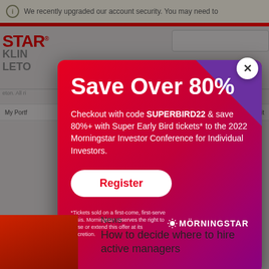We recently upgraded our account security. You may need to
[Figure (screenshot): Morningstar website background with logo STAR, navigation elements, copyright line, and news section showing 'How to decide where to hire active managers']
[Figure (infographic): Morningstar promotional modal popup with gradient red-to-purple background. Title: Save Over 80%. Body: Checkout with code SUPERBIRD22 & save 80%+ with Super Early Bird tickets* to the 2022 Morningstar Investor Conference for Individual Investors. Register button. Disclaimer: *Tickets sold on a first-come, first-serve basis. Morningstar reserves the right to close or extend this offer at its discretion. Morningstar logo at bottom right.]
Save Over 80%
Checkout with code SUPERBIRD22 & save 80%+ with Super Early Bird tickets* to the 2022 Morningstar Investor Conference for Individual Investors.
Register
*Tickets sold on a first-come, first-serve basis. Morningstar reserves the right to close or extend this offer at its discretion.
News
How to decide where to hire active managers